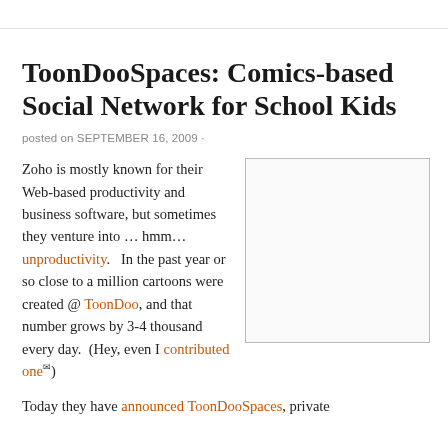ToonDooSpaces: Comics-based Social Network for School Kids
posted on SEPTEMBER 16, 2009 ·
[Figure (other): Empty image placeholder with light gray border]
Zoho is mostly known for their Web-based productivity and business software, but sometimes they venture into … hmm… unproductivity.   In the past year or so close to a million cartoons were created @ ToonDoo, and that number grows by 3-4 thousand every day.  (Hey, even I contributed one) Today they have announced ToonDooSpaces, private